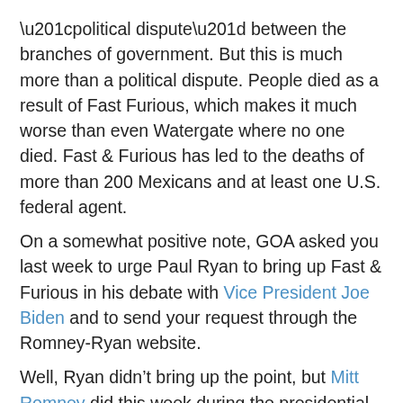“political dispute” between the branches of government. But this is much more than a political dispute. People died as a result of Fast Furious, which makes it much worse than even Watergate where no one died. Fast & Furious has led to the deaths of more than 200 Mexicans and at least one U.S. federal agent.
On a somewhat positive note, GOA asked you last week to urge Paul Ryan to bring up Fast & Furious in his debate with Vice President Joe Biden and to send your request through the Romney-Ryan website.
Well, Ryan didn’t bring up the point, but Mitt Romney did this week during the presidential debate as he told the American people — some who were probably hearing this for the first time — that Fast & Furious guns were used to kill people on both sides of the border. “They [drug lords] used those weapons against – against their own citizens